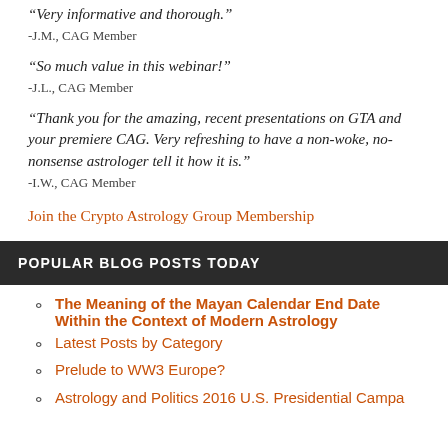“Very informative and thorough.”
-J.M., CAG Member
“So much value in this webinar!”
-J.L., CAG Member
“Thank you for the amazing, recent presentations on GTA and your premiere CAG. Very refreshing to have a non-woke, no-nonsense astrologer tell it how it is.”
-I.W., CAG Member
Join the Crypto Astrology Group Membership
POPULAR BLOG POSTS TODAY
The Meaning of the Mayan Calendar End Date Within the Context of Modern Astrology
Latest Posts by Category
Prelude to WW3 Europe?
Astrology and Politics 2016 U.S. Presidential Campaign